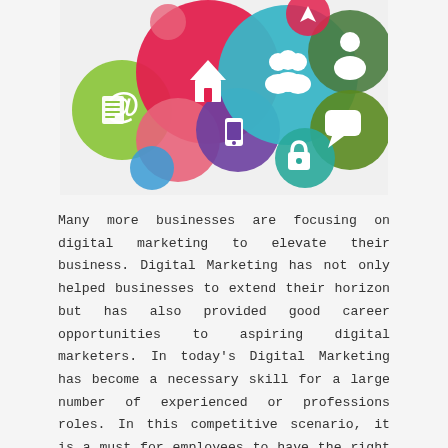[Figure (illustration): Colorful overlapping circles with white social media and digital marketing icons: @ symbol, document/list, house/home, person, group of people, chat bubble, mobile phone, padlock, arrow]
Many more businesses are focusing on digital marketing to elevate their business. Digital Marketing has not only helped businesses to extend their horizon but has also provided good career opportunities to aspiring digital marketers. In today's Digital Marketing has become a necessary skill for a large number of experienced or professions roles. In this competitive scenario, it is a must for employees to have the right skills of technologies to perform well in their